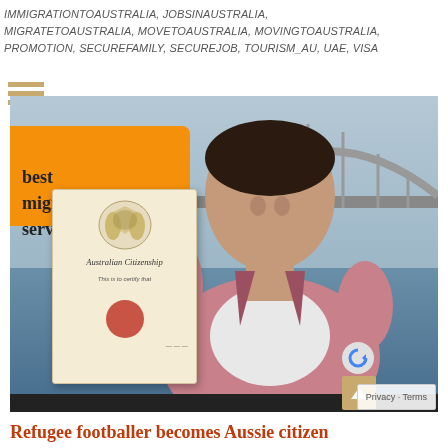IMMIGRATIONTOAUSTRALIA, JOBSINAUSTRALIA, MIGRATETOAUSTRALIA, MOVETOAUSTRALIA, MOVINGTOAUSTRALIA, PROMOTION, SECUREFAMILY, SECUREJOB, TOURISM_AU, UAE, VISA
[Figure (photo): Man in pink blazer holding an Australian Citizenship certificate, smiling in front of a bridge near a waterfront. An orange sign with 'best immigration services.' is visible in the background.]
Refugee footballer becomes Aussie citizen